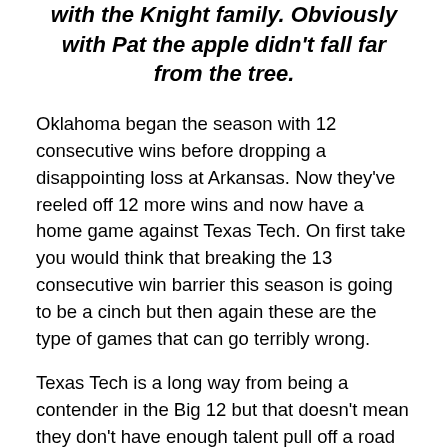with the Knight family. Obviously with Pat the apple didn't fall far from the tree.
Oklahoma began the season with 12 consecutive wins before dropping a disappointing loss at Arkansas. Now they've reeled off 12 more wins and now have a home game against Texas Tech. On first take you would think that breaking the 13 consecutive win barrier this season is going to be a cinch but then again these are the type of games that can go terribly wrong.
Texas Tech is a long way from being a contender in the Big 12 but that doesn't mean they don't have enough talent pull off a road upset. The Red Raiders are 12-12 on the season with a 2-7 mark in conference play. What has to be most alarming to their fans is that